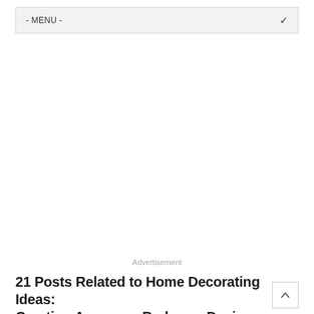- MENU -
Advertisement
21 Posts Related to Home Decorating Ideas: Creating Awesome Bedroom Design